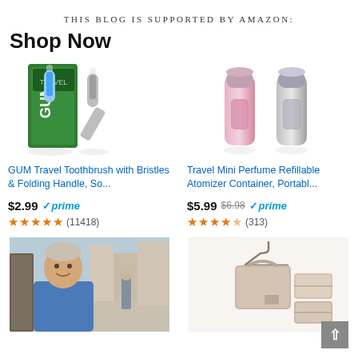THIS BLOG IS SUPPORTED BY AMAZON:
Shop Now
[Figure (photo): GUM Travel Toothbrush with folding handle product image]
GUM Travel Toothbrush with Bristles & Folding Handle, So...
$2.99 ✓prime ★★★★★ (11418)
[Figure (photo): Travel Mini Perfume Refillable Atomizer Container product image - two small cylindrical atomizer bottles in pink and silver]
Travel Mini Perfume Refillable Atomizer Container, Portabl...
$5.99 $6.98 ✓prime ★★★★☆ (313)
[Figure (photo): Photo of a man (blogger) smiling outdoors on a European street]
[Figure (photo): Pink hanging travel jewelry/makeup organizer bag with multiple compartments]